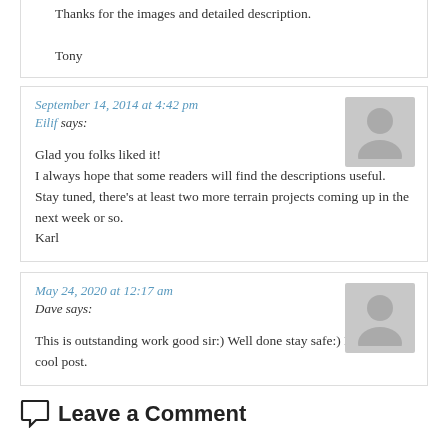Thanks for the images and detailed description.

Tony
September 14, 2014 at 4:42 pm
Eilif says:

Glad you folks liked it!
I always hope that some readers will find the descriptions useful.
Stay tuned, there's at least two more terrain projects coming up in the next week or so.
Karl
May 24, 2020 at 12:17 am
Dave says:

This is outstanding work good sir:) Well done stay safe:) Keep up the cool post.
Leave a Comment